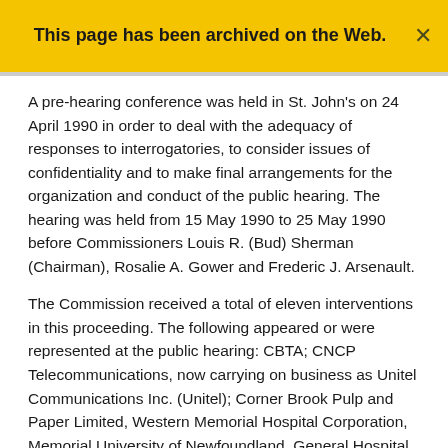This page has been archived on the Web.
A pre-hearing conference was held in St. John's on 24 April 1990 in order to deal with the adequacy of responses to interrogatories, to consider issues of confidentiality and to make final arrangements for the organization and conduct of the public hearing. The hearing was held from 15 May 1990 to 25 May 1990 before Commissioners Louis R. (Bud) Sherman (Chairman), Rosalie A. Gower and Frederic J. Arsenault.
The Commission received a total of eleven interventions in this proceeding. The following appeared or were represented at the public hearing: CBTA; CNCP Telecommunications, now carrying on business as Unitel Communications Inc. (Unitel); Corner Brook Pulp and Paper Limited, Western Memorial Hospital Corporation, Memorial University of Newfoundland, General Hospital Corporation, The Governing Council of the Salvation Army